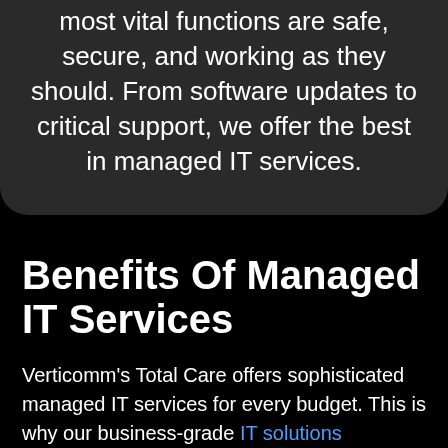most vital functions are safe, secure, and working as they should. From software updates to critical support, we offer the best in managed IT services.
Benefits Of Managed IT Services
Verticomm's Total Care offers sophisticated managed IT services for every budget. This is why our business-grade IT solutions